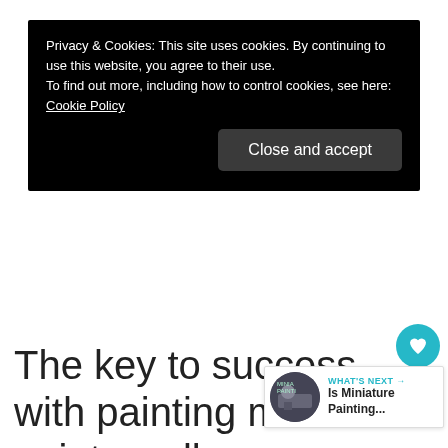Privacy & Cookies: This site uses cookies. By continuing to use this website, you agree to their use.
To find out more, including how to control cookies, see here: Cookie Policy
Close and accept
The key to success with painting metal paints well on models is to avoid too much thinner medium, including
[Figure (other): What's Next panel with circular thumbnail showing miniature painting content, labeled 'WHAT'S NEXT → Is Miniature Painting...']
[Figure (other): Heart/like button (teal circle with heart icon) and like count '4', and share icon]